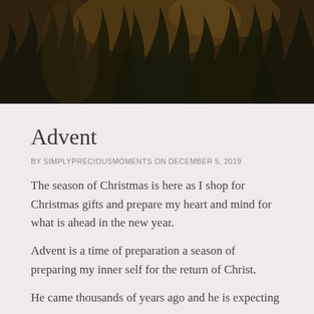[Figure (photo): Dark overhead photo of plants and foliage with warm earthy tones, forming a banner image at the top of the page.]
Advent
BY SIMPLYPRECIOUSMOMENTS ON DECEMBER 5, 2019
The season of Christmas is here as I shop for Christmas gifts and prepare my heart and mind for what is ahead in the new year.
Advent is a time of preparation a season of preparing my inner self for the return of Christ.
He came thousands of years ago and he is expecting